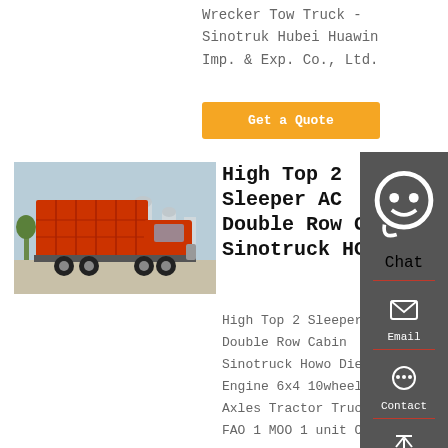Wrecker Tow Truck - Sinotruk Hubei Huawin Imp. & Exp. Co., Ltd.
Get a Quote
[Figure (photo): Red Sinotruk HOWO dump truck photographed from rear-left angle in a yard, showing red tipper body and tandem rear axles.]
High Top 2 Sleeper AC Double Row Cabin Sinotruck HOWO
High Top 2 Sleeper AC Double Row Cabin Sinotruck Howo Diesel Engine 6x4 10wheeler Axles Tractor Truck Head FAO 1 MOO 1 unit O
Chat
Email
Contact
Top